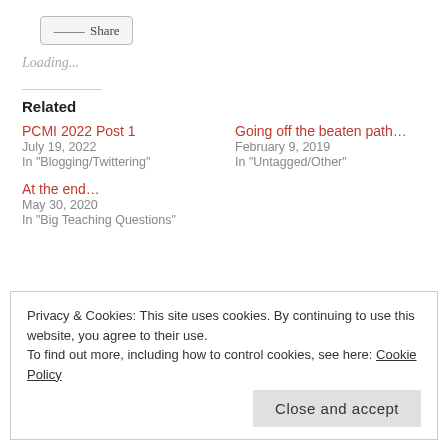Share
Loading...
Related
PCMI 2022 Post 1
July 19, 2022
In "Blogging/Twittering"
Going off the beaten path…
February 9, 2019
In "Untagged/Other"
At the end…
May 30, 2020
In "Big Teaching Questions"
Privacy & Cookies: This site uses cookies. By continuing to use this website, you agree to their use.
To find out more, including how to control cookies, see here: Cookie Policy
Close and accept